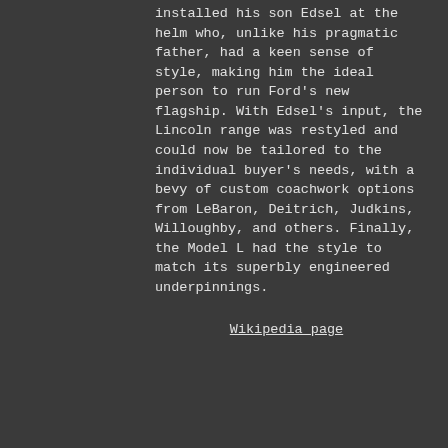installed his son Edsel at the helm who, unlike his pragmatic father, had a keen sense of style, making him the ideal person to run Ford's new flagship. With Edsel's input, the Lincoln range was restyled and could now be tailored to the individual buyer's needs, with a bevy of custom coachwork options from LeBaron, Deitrich, Judkins, Willoughby, and others. Finally, the Model L had the style to match its superbly engineered underpinnings.
Wikipedia page